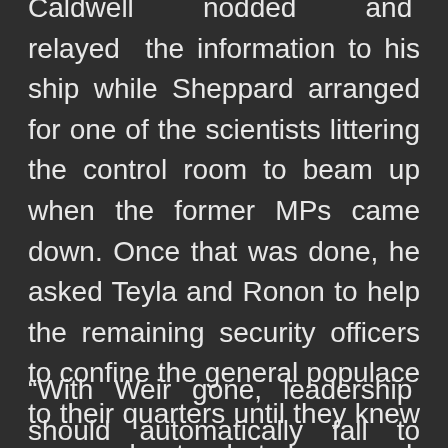Caldwell nodded and relayed the information to his ship while Sheppard arranged for one of the scientists littering the control room to beam up when the former MPs came down. Once that was done, he asked Teyla and Ronon to help the remaining security officers to confine the general populace to their quarters until they knew more about what happened. Then he joined the older man and led him off to the other side of the room where they wouldn't be easily overheard.
“With Weir gone, leadership should automatically fall to either myself or